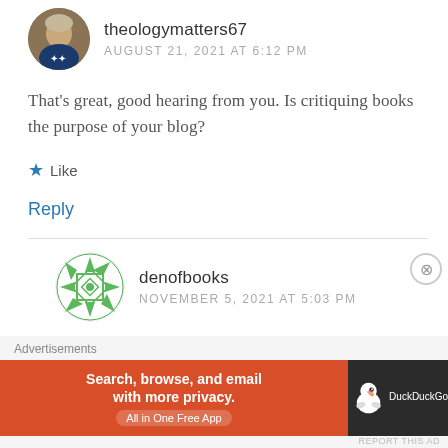theologymatters67
AUGUST 21, 2021 AT 6:12 PM
That’s great, good hearing from you. Is critiquing books the purpose of your blog?
Like
Reply
denofbooks
NOVEMBER 5, 2021 AT 5:03 PM
Advertisements
[Figure (photo): DuckDuckGo advertisement banner: orange background with text 'Search, browse, and email with more privacy. All in One Free App' and DuckDuckGo duck logo on dark background]